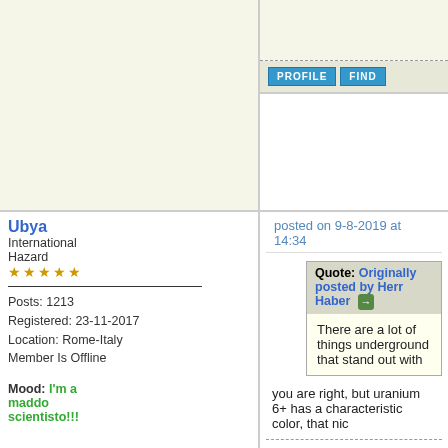PROFILE   FIND
posted on 9-8-2019 at 14:34
Ubya
International Hazard
★★★★★
Posts: 1213
Registered: 23-11-2017
Location: Rome-Italy
Member Is Offline
Mood: I'm a maddo scientisto!!!
Quote: Originally posted by Herr Haber
There are a lot of things underground that stand out with
you are right, but uranium 6+ has a characteristic color, that nic
feel free to correct my grammar, or any mistakes i make
If you are looking for chemicals check this out: [For Sale]300 ch